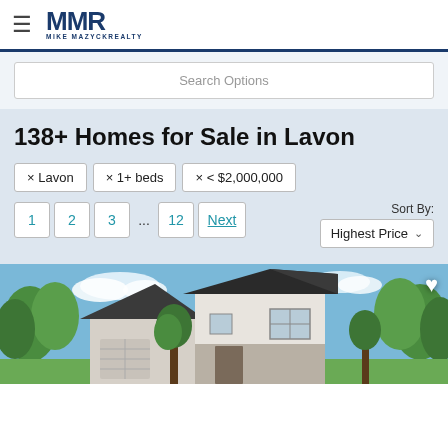MMR MIKE MAZYCKREALTY
Search Options
138+ Homes for Sale in Lavon
× Lavon
× 1+ beds
× < $2,000,000
1 2 3 ... 12 Next
Sort By: Highest Price
[Figure (photo): Exterior photo of a two-story suburban home with white siding, stone accents, dark roof, and trees in background with blue sky]